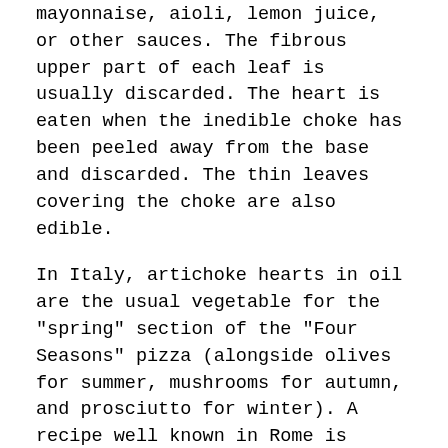mayonnaise, aioli, lemon juice, or other sauces. The fibrous upper part of each leaf is usually discarded. The heart is eaten when the inedible choke has been peeled away from the base and discarded. The thin leaves covering the choke are also edible.
In Italy, artichoke hearts in oil are the usual vegetable for the "spring" section of the "Four Seasons" pizza (alongside olives for summer, mushrooms for autumn, and prosciutto for winter). A recipe well known in Rome is Jewish-style artichokes, which are deep-fried whole. The softer parts of artichokes are also eaten raw, one leaf at the time dipped in vinegar and olive oil, or thinly sliced and dressed with lemon and olive oil.
There are many stuffed artichoke recipes. A common Italian stuffing uses a mixture of bread crumbs, garlic, oregano, parsley, grated cheese, and prosciutto or sausage. A bit of